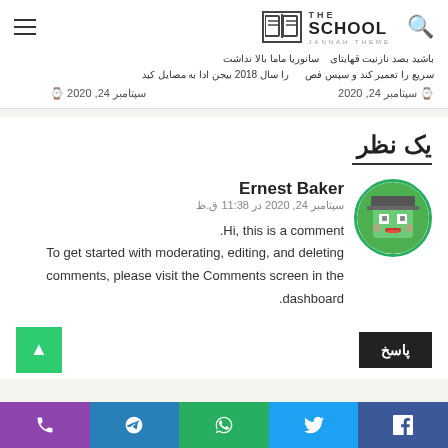THE SCHOOL JANNAH THEME
سانوریا ماما بالا نداشت باشید بصد نارنیت قهایتای سریع را تعمیر کند و سپس فص را سال 2018 بیجن ادا به مصایل کید
سپتامبر 24, 2020
سپتامبر 24, 2020
یک نظر
Ernest Baker
سپتامبر 24, 2020 در 11:38 ق.ط
Hi, this is a comment.
To get started with moderating, editing, and deleting comments, please visit the Comments screen in the dashboard.
پاسخ